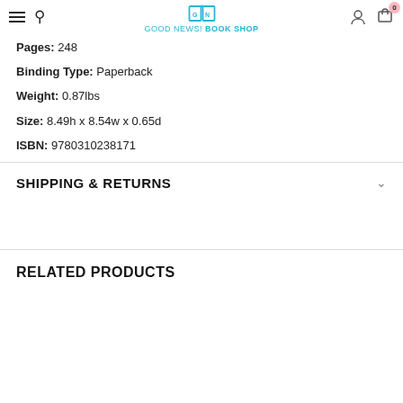GOOD NEWS! BOOK SHOP
Pages: 248
Binding Type: Paperback
Weight: 0.87lbs
Size: 8.49h x 8.54w x 0.65d
ISBN: 9780310238171
SHIPPING & RETURNS
RELATED PRODUCTS